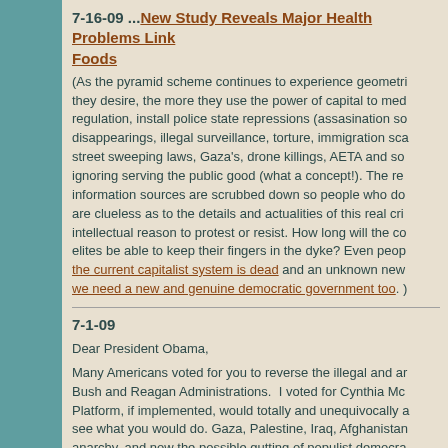7-16-09 ...New Study Reveals Major Health Problems Linked to Foods
(As the pyramid scheme continues to experience geometri... they desire, the more they use the power of capital to med... regulation, install police state repressions (assasination s... disappearings, illegal surveillance, torture, immigration sca... street sweeping laws, Gaza's, drone killings, AETA and so... ignoring serving the public good (what a concept!). The rea... information sources are scrubbed down so people who do... are clueless as to the details and actualities of this real cri... intellectual reason to protest or resist. How long will the co... elites be able to keep their fingers in the dyke? Even peop... the current capitalist system is dead and an unknown new... we need a new and genuine democratic government too. )
7-1-09
Dear President Obama,
Many Americans voted for you to reverse the illegal and a... Bush and Reagan Administrations. I voted for Cynthia Mc... Platform, if implemented, would totally and unequivocally a... see what you would do. Gaza, Palestine, Iraq, Afghanistar... anarchy, and now the possible gutting of populist democra... evidence that your administration is nothing more than Ne... complete sellout.
The Honduras situation is a bellwether of who you are...